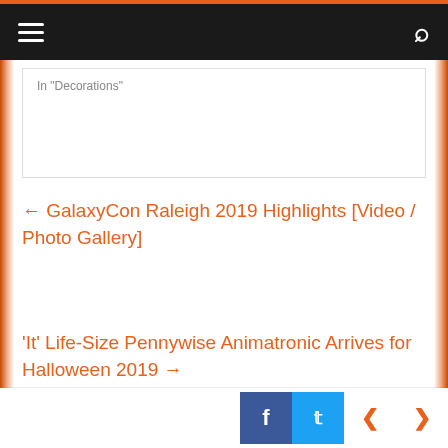Navigation bar with hamburger menu and search icon
In "Decorations"
← GalaxyCon Raleigh 2019 Highlights [Video / Photo Gallery]
'It' Life-Size Pennywise Animatronic Arrives for Halloween 2019 →
Matt Artz
Social sharing buttons: Facebook, Twitter, Previous, Next